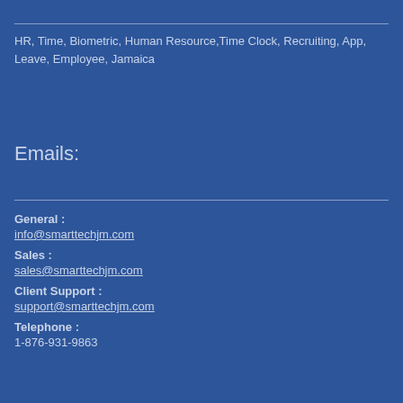HR, Time, Biometric, Human Resource,Time Clock, Recruiting, App, Leave, Employee, Jamaica
Emails:
General : info@smarttechjm.com
Sales : sales@smarttechjm.com
Client Support : support@smarttechjm.com
Telephone : 1-876-931-9863